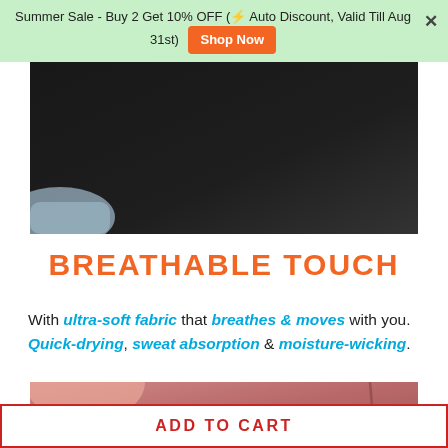Summer Sale - Buy 2 Get 10% OFF (⚡ Auto Discount, Valid Till Aug 31st)  Shop Now  ✕
[Figure (photo): Dark product photo, appears to be activewear in a dark/black setting with a light blue corner detail at bottom left]
BREATHABLE TOUCH
With ultra-soft fabric that breathes & moves with you. Quick-drying, sweat absorption & moisture-wicking.
[Figure (photo): Close-up photo of pinkish-red/mauve activewear fabric with visible seam detail, showing a portion of skin/arm]
ADD TO CART